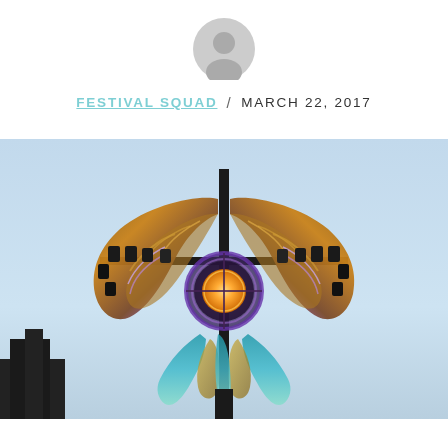[Figure (illustration): Circular avatar/profile icon placeholder in gray]
FESTIVAL SQUAD / MARCH 22, 2017
[Figure (photo): Photograph of a large festival art sculpture featuring two large butterfly/moth wings in brown, amber, and purple tones spread symmetrically, with stage lighting rigs attached. A circular ornate central orb glows with orange/gold light. Below the wings are decorative peacock feather-like elements in teal and gold. The background is a pale blue sky. A dark silhouette of buildings is visible at the lower left.]